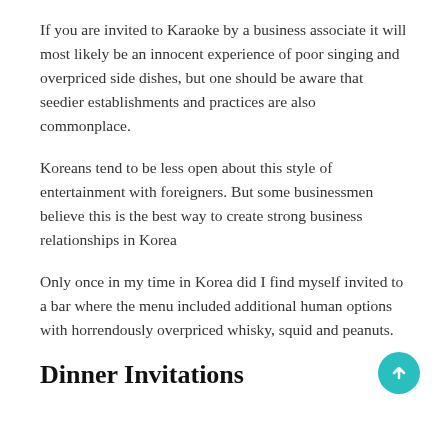If you are invited to Karaoke by a business associate it will most likely be an innocent experience of poor singing and overpriced side dishes, but one should be aware that seedier establishments and practices are also commonplace.
Koreans tend to be less open about this style of entertainment with foreigners. But some businessmen believe this is the best way to create strong business relationships in Korea
Only once in my time in Korea did I find myself invited to a bar where the menu included additional human options with horrendously overpriced whisky, squid and peanuts.
Dinner Invitations